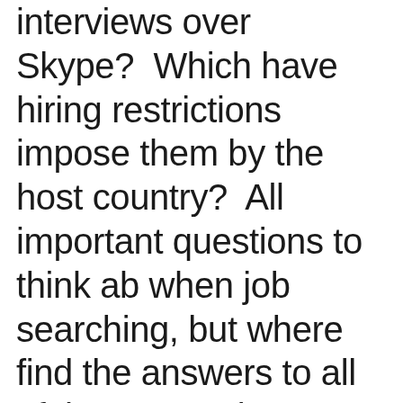interviews over Skype?  Which have hiring restrictions imposed them by the host country?  All important questions to think about when job searching, but where find the answers to all of those questions?

Sometimes it is hard to keep track which international schools go to which recruitment fairs and which interview style and tactic each